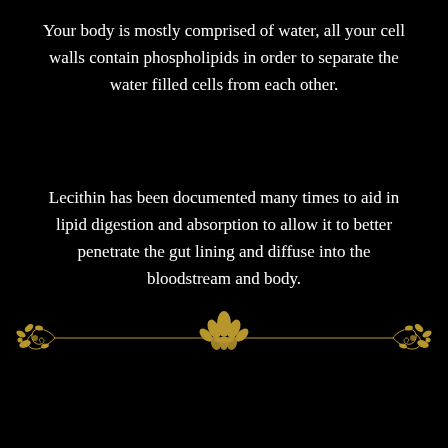Your body is mostly comprised of water, all your cell walls contain phospholipids in order to separate the water filled cells from each other.
Lecithin has been documented many times to aid in lipid digestion and absorption to allow it to better penetrate the gut lining and diffuse into the bloodstream and body.
[Figure (illustration): Decorative golden horizontal divider with ornamental scrollwork flourishes on the left and right ends, and a lotus flower motif in the center, on a black background.]